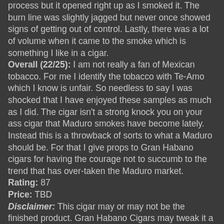process but it opened right up as I smoked it. The burn line was slightly jagged but never once showed signs of getting out of control. Lastly, there was a lot of volume when it came to the smoke which is something I like in a cigar.
Overall (22/25): I am not really a fan of Mexican tobacco. For me I identify the tobacco with Te-Amo which I know is unfair. So needless to say I was shocked that I have enjoyed these samples as much as I did. The cigar isn't a strong knock you on your ass cigar that Maduro smokes have become lately. Instead this is a throwback of sorts to what a Maduro should be. For that I give props to Gran Habano cigars for having the courage not to succumb to the trend that has over-taken the Maduro market.
Rating: 87
Price: TBD
Disclaimer: This cigar may or may not be the finished product. Gran Habano Cigars may tweak it a bit based upon feedback others provide. If all positive, the cigar should be out in April or May.